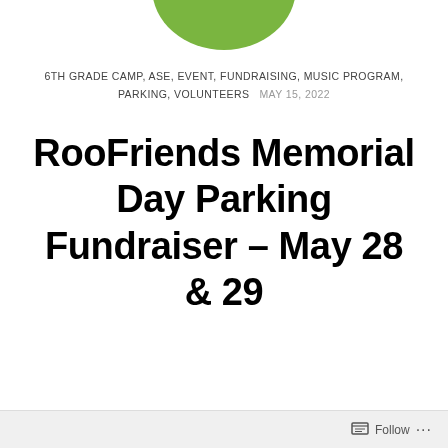[Figure (logo): Green circle/oval logo at top center, partially cropped]
6TH GRADE CAMP, ASE, EVENT, FUNDRAISING, MUSIC PROGRAM, PARKING, VOLUNTEERS   MAY 15, 2022
RooFriends Memorial Day Parking Fundraiser – May 28 & 29
Follow ...